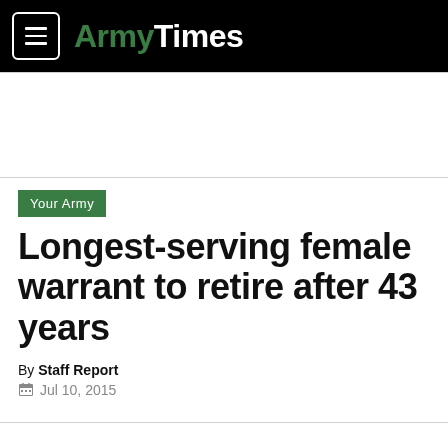ArmyTimes
Your Army
Longest-serving female warrant to retire after 43 years
By Staff Report
Jul 10, 2015